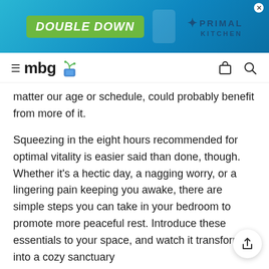[Figure (other): Advertisement banner for Primal Kitchen with 'DOUBLE DOWN' text on green background and product bottles]
≡ mbg 🪴 [cart icon] [search icon]
matter our age or schedule, could probably benefit from more of it.
Squeezing in the eight hours recommended for optimal vitality is easier said than done, though. Whether it's a hectic day, a nagging worry, or a lingering pain keeping you awake, there are simple steps you can take in your bedroom to promote more peaceful rest. Introduce these essentials to your space, and watch it transform into a cozy sanctuary
1. Pick a purifying plant.